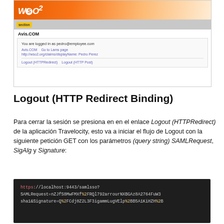[Figure (screenshot): Screenshot of WSO2 Avis.COM application showing logged in state as pedro@employee.com with logout links]
Logout (HTTP Redirect Binding)
Para cerrar la sesión se presiona en en el enlace Logout (HTTPRedirect) de la aplicación Travelocity, esto va a iniciar el flujo de Logout con la siguiente petición GET con los parámetros (query string) SAMLRequest, SigAlg y Signature:
[Figure (screenshot): Code block showing HTTPS request: https://localhost:9443/samlsso?SAMLRequest=nZJfS8MwFMXf%2FRQl792arrourNXBGAz8A2764FuW3sha1&Signature=Q%2FCdj0Z2L3F3igammLugVElp%2BB5A1KiHZH%2FB]